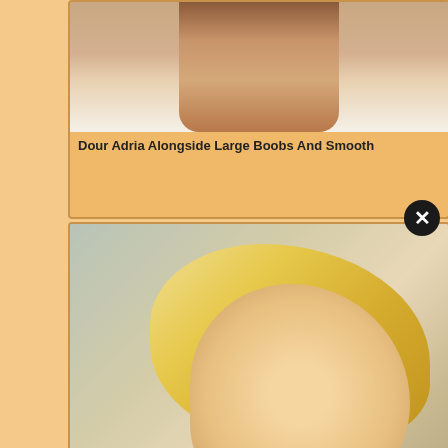[Figure (photo): Cropped photo showing skin/body, partially cut off at top]
Dour Adria Alongside Large Boobs And Smooth
[Figure (photo): Close-up photo of young blonde woman looking at camera]
Neighbour Receives Gentle With Young Blonde Busty
[Figure (photo): Blonde woman outdoors in park setting wearing white top]